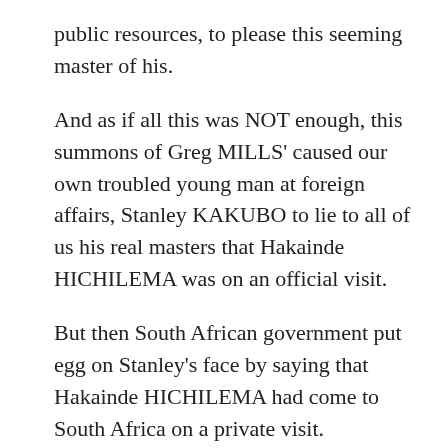public resources, to please this seeming master of his.
And as if all this was NOT enough, this summons of Greg MILLS' caused our own troubled young man at foreign affairs, Stanley KAKUBO to lie to all of us his real masters that Hakainde HICHILEMA was on an official visit.
But then South African government put egg on Stanley's face by saying that Hakainde HICHILEMA had come to South Africa on a private visit.
You see, now that he is a public servant, Hakainde's deals will embaras him. These deals can no longer be hidden.